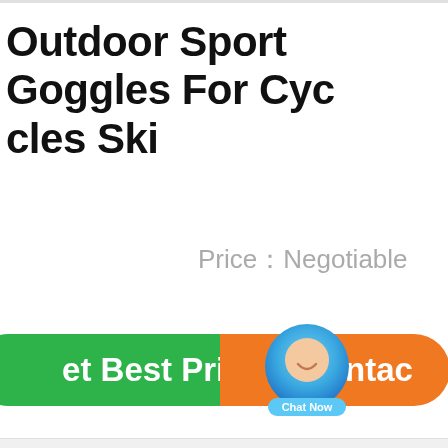Outdoor Sport Goggles For Cycles Ski
Price：Negotiable
[Figure (screenshot): Green button partially visible with text 'et Best Price', overlapping chat bubble widget with smiley face and 'Chat Now' label in blue, and orange button with envelope icon and text 'Contac']
ou
City,Guangdong
Province,China
510000, Chi...